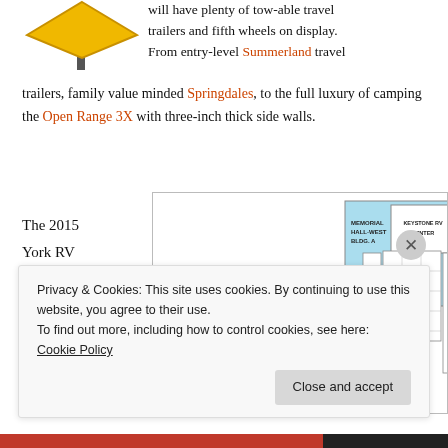[Figure (illustration): Yellow caution/warning road sign illustration at top left]
will have plenty of tow-able travel trailers and fifth wheels on display. From entry-level Summerland travel trailers, family value minded Springdales, to the full luxury of camping the Open Range 3X with three-inch thick side walls.
The 2015 York RV Campers
[Figure (map): Floor plan map of the 2015 York RV Campers show, showing Memorial Hall-East Bldg. B and Memorial Hall-West Bldg. A with vendor booths including Lerch RV, Martin Camper Sales, Kennedy RV & Power Sports, RV Value Mart, Multi-Purpose Office, Stoltzfus RV Inc., Keystone RV Center, Juniata Valley RV, and other labeled areas.]
Privacy & Cookies: This site uses cookies. By continuing to use this website, you agree to their use.
To find out more, including how to control cookies, see here: Cookie Policy
Close and accept